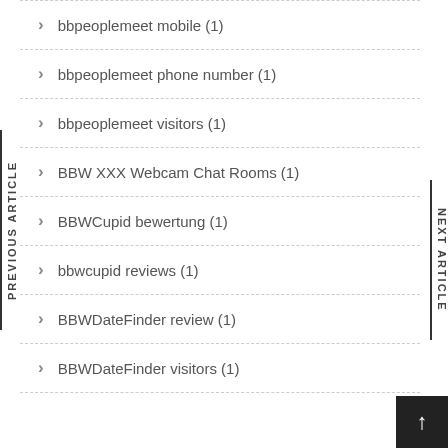bbpeoplemeet mobile (1)
bbpeoplemeet phone number (1)
bbpeoplemeet visitors (1)
BBW XXX Webcam Chat Rooms (1)
BBWCupid bewertung (1)
bbwcupid reviews (1)
BBWDateFinder review (1)
BBWDateFinder visitors (1)